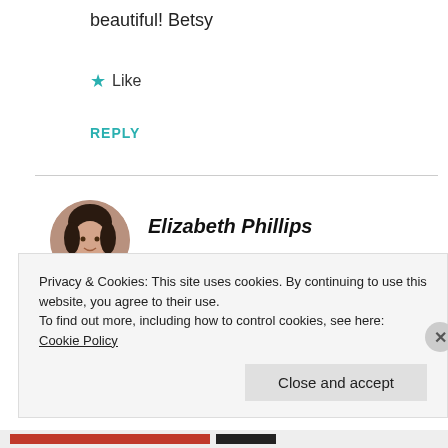beautiful! Betsy
★ Like
REPLY
Elizabeth Phillips
MAY 8, 2018 AT 12:46 AM
I hope you are enjoying your
[Figure (photo): Circular avatar photo of Elizabeth Phillips]
Privacy & Cookies: This site uses cookies. By continuing to use this website, you agree to their use.
To find out more, including how to control cookies, see here: Cookie Policy